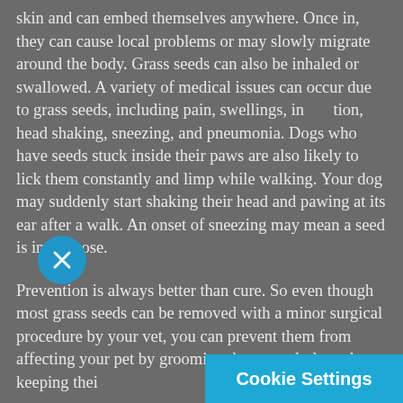skin and can embed themselves anywhere. Once in, they can cause local problems or may slowly migrate around the body. Grass seeds can also be inhaled or swallowed. A variety of medical issues can occur due to grass seeds, including pain, swellings, inflammation, head shaking, sneezing, and pneumonia. Dogs who have seeds stuck inside their paws are also likely to lick them constantly and limp while walking. Your dog may suddenly start shaking their head and pawing at its ear after a walk. An onset of sneezing may mean a seed is in the nose.
Prevention is always better than cure. So even though most grass seeds can be removed with a minor surgical procedure by your vet, you can prevent them from affecting your pet by grooming them regularly and keeping their...
[Figure (other): Blue circular close/dismiss button with white X icon]
Cookie Settings